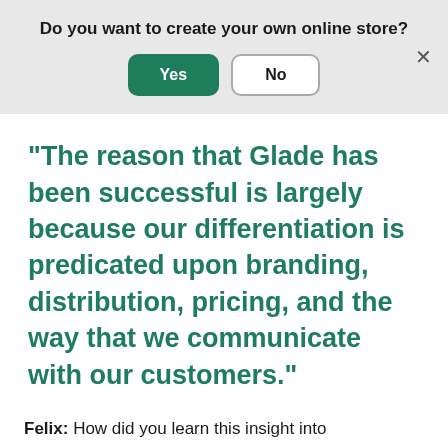Do you want to create your own online store?
Yes
No
"The reason that Glade has been successful is largely because our differentiation is predicated upon branding, distribution, pricing, and the way that we communicate with our customers."
Felix: How did you learn this insight into